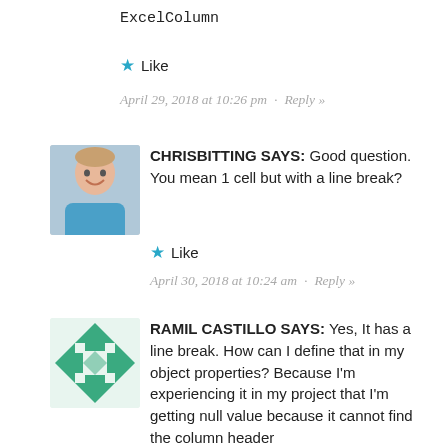ExcelColumn
★ Like
April 29, 2018 at 10:26 pm • Reply »
[Figure (photo): Avatar photo of ChrisBitting, a person in a blue shirt smiling]
CHRISBITTING SAYS: Good question. You mean 1 cell but with a line break?
★ Like
April 30, 2018 at 10:24 am • Reply »
[Figure (illustration): Avatar illustration of Ramil Castillo, a teal/green geometric pattern avatar]
RAMIL CASTILLO SAYS: Yes, It has a line break. How can I define that in my object properties? Because I'm experiencing it in my project that I'm getting null value because it cannot find the column header